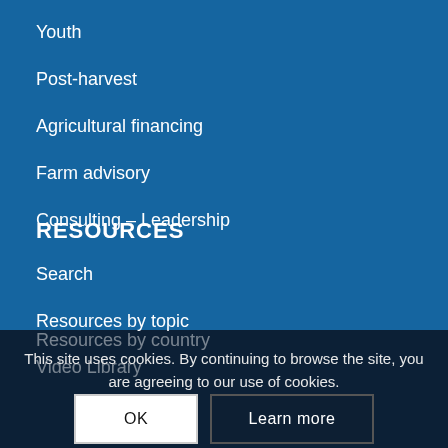Youth
Post-harvest
Agricultural financing
Farm advisory
Consulting – Leadership
RESOURCES
Search
Resources by topic
Resources by country
Video Library
This site uses cookies. By continuing to browse the site, you are agreeing to our use of cookies.
OK
Learn more